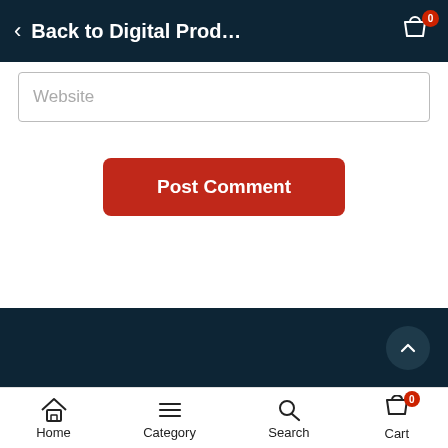Back to Digital Prod...
Website
Post Comment
Home  Category  Search  Cart